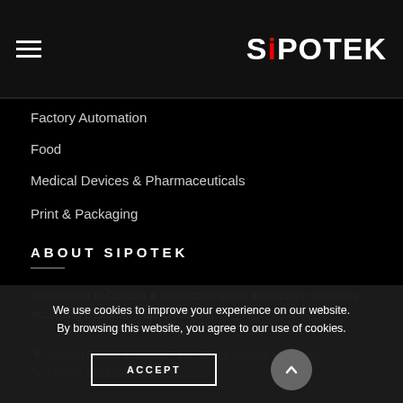SiPOTEK
Factory Automation
Food
Medical Devices & Pharmaceuticals
Print & Packaging
ABOUT SIPOTEK
Specialized in Custom & production visual inspection machines according customer's specifications.
Shajing/Furong Industrial Park, Baoan District, Shenzhen
Phone: +86-1355532616
Email: info@sipotek.net
We use cookies to improve your experience on our website. By browsing this website, you agree to our use of cookies.
ACCEPT